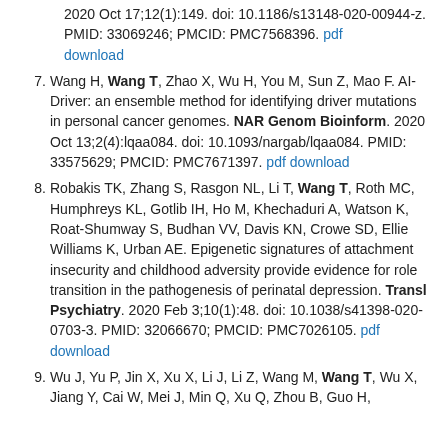(partial continuation) 2020 Oct 17;12(1):149. doi: 10.1186/s13148-020-00944-z. PMID: 33069246; PMCID: PMC7568396. pdf download
7. Wang H, Wang T, Zhao X, Wu H, You M, Sun Z, Mao F. AI-Driver: an ensemble method for identifying driver mutations in personal cancer genomes. NAR Genom Bioinform. 2020 Oct 13;2(4):lqaa084. doi: 10.1093/nargab/lqaa084. PMID: 33575629; PMCID: PMC7671397. pdf download
8. Robakis TK, Zhang S, Rasgon NL, Li T, Wang T, Roth MC, Humphreys KL, Gotlib IH, Ho M, Khechaduri A, Watson K, Roat-Shumway S, Budhan VV, Davis KN, Crowe SD, Ellie Williams K, Urban AE. Epigenetic signatures of attachment insecurity and childhood adversity provide evidence for role transition in the pathogenesis of perinatal depression. Transl Psychiatry. 2020 Feb 3;10(1):48. doi: 10.1038/s41398-020-0703-3. PMID: 32066670; PMCID: PMC7026105. pdf download
9. Wu J, Yu P, Jin X, Xu X, Li J, Li Z, Wang M, Wang T, Wu X, Jiang Y, Cai W, Mei J, Min Q, Xu Q, Zhou B, Guo H,